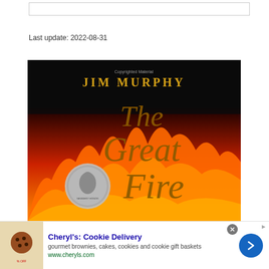Last update: 2022-08-31
[Figure (photo): Book cover of 'The Great Fire' by Jim Murphy. Black background with large flames in red, orange, and yellow. Title text 'The Great Fire' in large ornate serif font. Author name 'JIM MURPHY' in gold letters at top. 'Copyrighted Material' text near top center. A Newbery Honor medal (silver) on the lower left.]
Cheryl's: Cookie Delivery
gourmet brownies, cakes, cookies and cookie gift baskets
www.cheryls.com